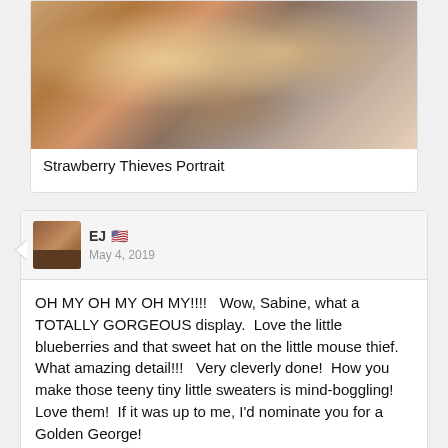[Figure (photo): Photo of knitted/crocheted mouse figurines dressed in colorful sweaters and hats, appearing to be 'Strawberry Thieves' themed craft figures]
Strawberry Thieves Portrait
EJ 🇺🇸
May 4, 2019
OH MY OH MY OH MY!!!!   Wow, Sabine, what a TOTALLY GORGEOUS display.  Love the little blueberries and that sweet hat on the little mouse thief.  What amazing detail!!!   Very cleverly done!  How you make those teeny tiny little sweaters is mind-boggling!  Love them!  If it was up to me, I'd nominate you for a Golden George!